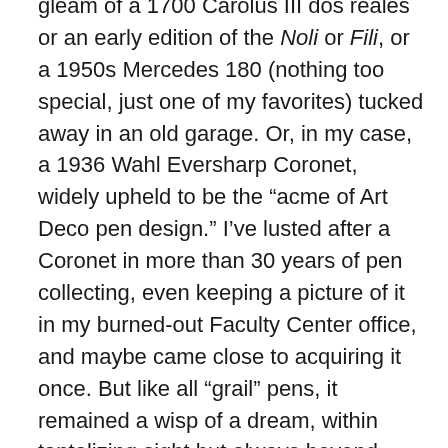gleam of a 1700 Carolus III dos reales or an early edition of the Noli or Fili, or a 1950s Mercedes 180 (nothing too special, just one of my favorites) tucked away in an old garage. Or, in my case, a 1936 Wahl Eversharp Coronet, widely upheld to be the “acme of Art Deco pen design.” I’ve lusted after a Coronet in more than 30 years of pen collecting, even keeping a picture of it in my burned-out Faculty Center office, and maybe came close to acquiring it once. But like all “grail” pens, it remained a wisp of a dream, within tantalizing sight but always beyond one’s feeble grasp.

I knew I’d come to the end of my collecting road when the thought struck me the other day that if a Coronet were to be offered to me tomorrow for a reasonable price, I would probably smile and politely decline, preferring to keep it a pretty phantom forever. If I actually held it in my hand it